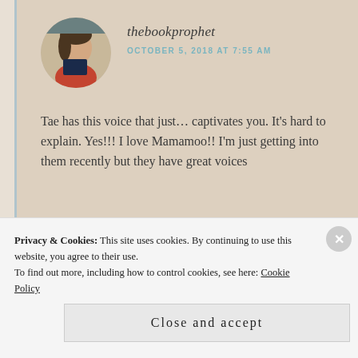[Figure (photo): Circular avatar photo of a person reading a book in a library setting]
thebookprophet
OCTOBER 5, 2018 AT 7:55 AM
Tae has this voice that just… captivates you. It's hard to explain. Yes!!! I love Mamamoo!! I'm just getting into them recently but they have great voices
Liked by 1 person
REPLY
Pooja Mohanty
Privacy & Cookies: This site uses cookies. By continuing to use this website, you agree to their use.
To find out more, including how to control cookies, see here: Cookie Policy
Close and accept